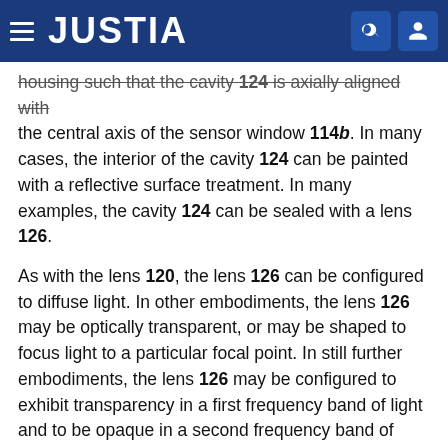JUSTIA
housing such that the cavity 124 is axially aligned with the central axis of the sensor window 114b. In many cases, the interior of the cavity 124 can be painted with a reflective surface treatment. In many examples, the cavity 124 can be sealed with a lens 126.
As with the lens 120, the lens 126 can be configured to diffuse light. In other embodiments, the lens 126 may be optically transparent, or may be shaped to focus light to a particular focal point. In still further embodiments, the lens 126 may be configured to exhibit transparency in a first frequency band of light and to be opaque in a second frequency band of light. For one example, the first frequency band of light can be infrared light and the second frequency band of light can be visible light.
FIG. 2B depicts a second cross-section like that of FIG. 2A, now showing a set of example light paths from a light